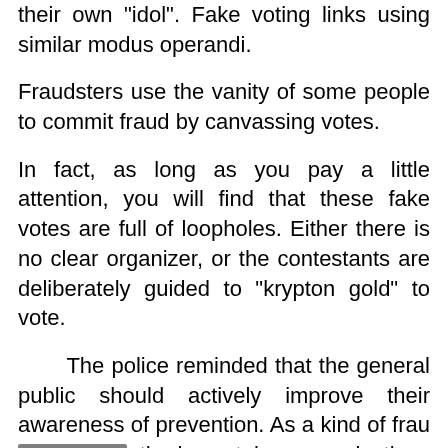their own 'idol'. Fake voting links using similar modus operandi.
Fraudsters use the vanity of some people to commit fraud by canvassing votes.
In fact, as long as you pay a little attention, you will find that these fake votes are full of loopholes. Either there is no clear organizer, or the contestants are deliberately guided to "krypton gold" to vote.
The police reminded that the general public should actively improve their awareness of prevention. As a kind of fraud method, telecommunications and network fraud keep updating their masks, but while enjoying the